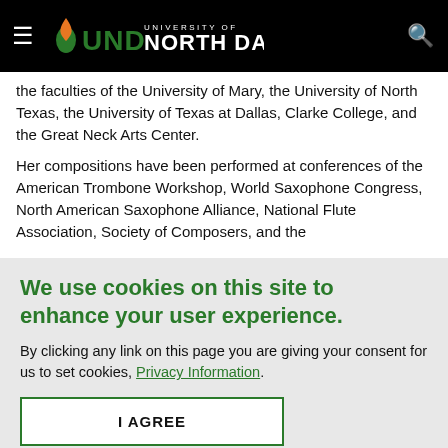University of North Dakota
the faculties of the University of Mary, the University of North Texas, the University of Texas at Dallas, Clarke College, and the Great Neck Arts Center.
Her compositions have been performed at conferences of the American Trombone Workshop, World Saxophone Congress, North American Saxophone Alliance, National Flute Association, Society of Composers, and the
We use cookies on this site to enhance your user experience.
By clicking any link on this page you are giving your consent for us to set cookies, Privacy Information.
I AGREE